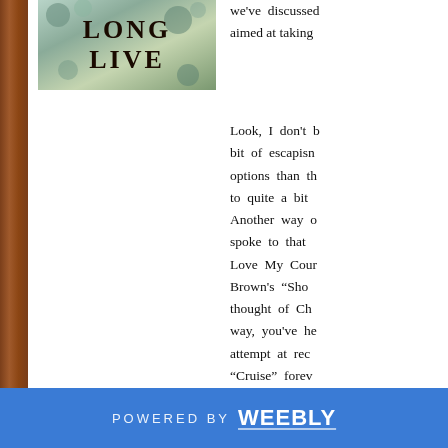[Figure (photo): Book cover with floral/nature background and bold text reading 'LONG LIVE']
we've discussed aimed at taking
Look, I don't b bit of escapis options than th to quite a bi Another way c spoke to that Love My Cour Brown's "Sho thought of Ch way, you've he attempt at rec "Cruise" forev music goes, p than frat-bros at least, you Country" is an
POWERED BY weebly